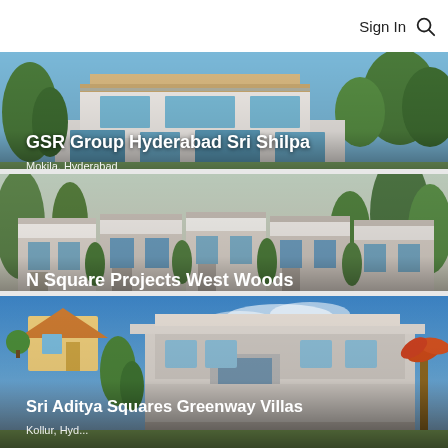Sign In
[Figure (photo): Modern villa/house rendering for GSR Group Hyderabad Sri Shilpa project, Mokila Hyderabad]
[Figure (photo): Row of modern townhouses rendering for N Square Projects West Woods, Kollur Hyderabad]
[Figure (photo): Modern house rendering for Sri Aditya Squares Greenway Villas, Kollur Hyderabad]